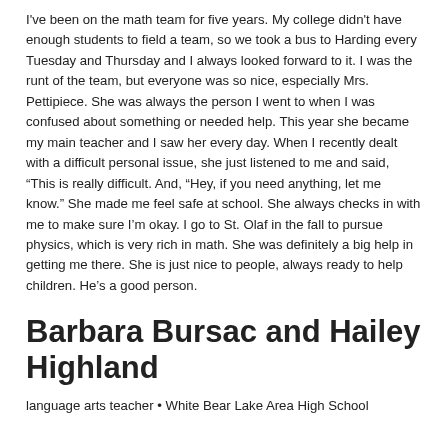I've been on the math team for five years. My college didn't have enough students to field a team, so we took a bus to Harding every Tuesday and Thursday and I always looked forward to it. I was the runt of the team, but everyone was so nice, especially Mrs. Pettipiece. She was always the person I went to when I was confused about something or needed help. This year she became my main teacher and I saw her every day. When I recently dealt with a difficult personal issue, she just listened to me and said, “This is really difficult. And, “Hey, if you need anything, let me know.” She made me feel safe at school. She always checks in with me to make sure I'm okay. I go to St. Olaf in the fall to pursue physics, which is very rich in math. She was definitely a big help in getting me there. She is just nice to people, always ready to help children. He's a good person.
Barbara Bursac and Hailey Highland
language arts teacher • White Bear Lake Area High School